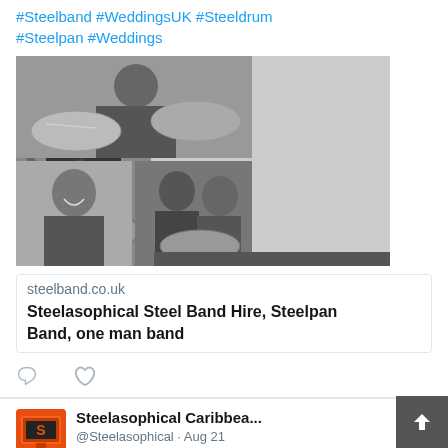#Steelband #WeddingsUK #Steeldrum #Steelpan #Weddings
[Figure (photo): Black and white collage of a steelband musician in formal attire playing steel pans, shown from multiple angles — left large photo shows man in bow tie playing, top right shows close-up of pans, bottom center shows man smiling in suit, bottom right shows two musicians with steel pans.]
steelband.co.uk
Steelasophical Steel Band Hire, Steelpan Band, one man band
[Figure (logo): Orange/red square logo with the letter S, representing Steelasophical Caribbean brand avatar.]
Steelasophical Caribbea...
@Steelasophical · Aug 21
Hope you had a wonderful day .. we are